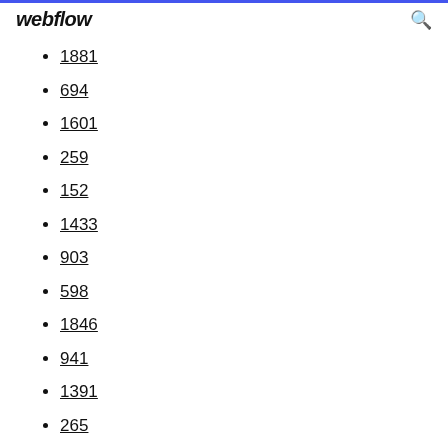webflow
1881
694
1601
259
152
1433
903
598
1846
941
1391
265
1993